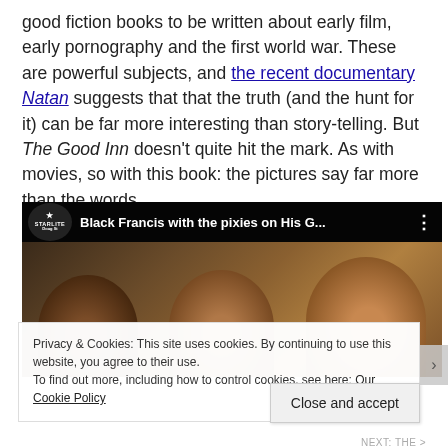good fiction books to be written about early film, early pornography and the first world war. These are powerful subjects, and the recent documentary Natan suggests that that the truth (and the hunt for it) can be far more interesting than story-telling. But The Good Inn doesn't quite hit the mark. As with movies, so with this book: the pictures say far more than the words.
[Figure (screenshot): Embedded video player showing 'Black Francis with the pixies on His G...' with Starlite logo, three men sitting together in front of horizontal blinds background]
Privacy & Cookies: This site uses cookies. By continuing to use this website, you agree to their use.
To find out more, including how to control cookies, see here: Our Cookie Policy
Close and accept